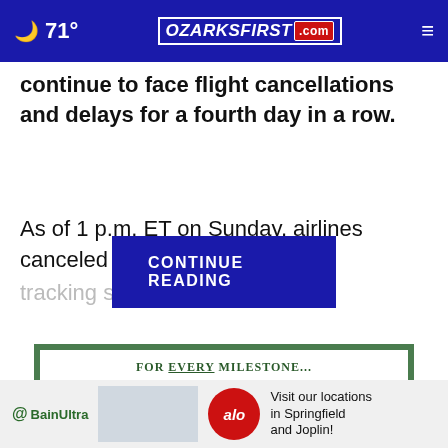🌙 71° | OZARKSFIRST.com
continue to face flight cancellations and delays for a fourth day in a row.
As of 1 p.m. ET on Sunday, airlines canceled 2,237 flights and del [CONTINUE READING button] according to tracking servi... of Sunday's...
[Figure (screenshot): CONTINUE READING button overlay on article text]
[Figure (advertisement): CornerStone advertisement: FOR EVERY MILESTONE... CORNERSTONE with photos of people and a close button]
[Figure (advertisement): BainUltra bottom banner ad with Alo badge: Visit our locations in Springfield and Joplin!]